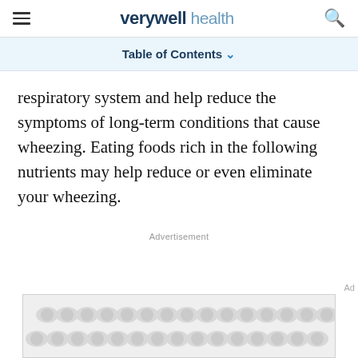verywell health
Table of Contents
respiratory system and help reduce the symptoms of long-term conditions that cause wheezing. Eating foods rich in the following nutrients may help reduce or even eliminate your wheezing.
Advertisement
[Figure (other): Advertisement banner placeholder with repeating blob/circle pattern in light gray]